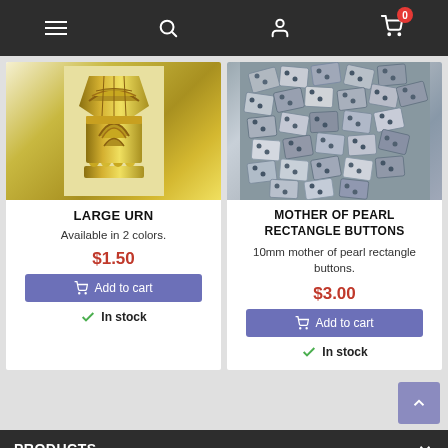[Figure (screenshot): E-commerce website navigation bar with hamburger menu, search icon, user icon, and shopping cart icon with badge showing 0]
[Figure (photo): Gold decorative large urn hardware piece with ornate embossed leaf design]
LARGE URN
Available in 2 colors.
$1.50
Add to cart
In stock
[Figure (photo): Collection of mother of pearl rectangle buttons scattered together, showing various sizes and pearl iridescence]
MOTHER OF PEARL RECTANGLE BUTTONS
10mm mother of pearl rectangle buttons.
$3.00
Add to cart
In stock
PRODUCTS